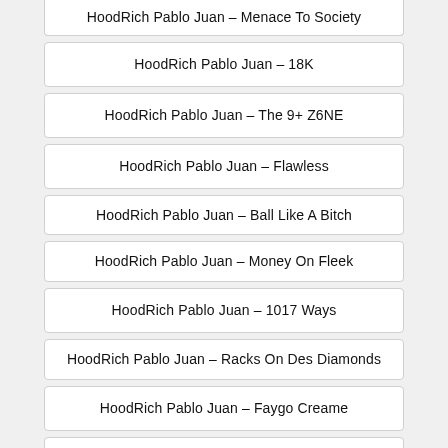HoodRich Pablo Juan – Menace To Society
HoodRich Pablo Juan – 18K
HoodRich Pablo Juan – The 9+ Z6NE
HoodRich Pablo Juan – Flawless
HoodRich Pablo Juan – Ball Like A Bitch
HoodRich Pablo Juan – Money On Fleek
HoodRich Pablo Juan – 1017 Ways
HoodRich Pablo Juan – Racks On Des Diamonds
HoodRich Pablo Juan – Faygo Creame
HoodRich Pablo Juan – Street Punk